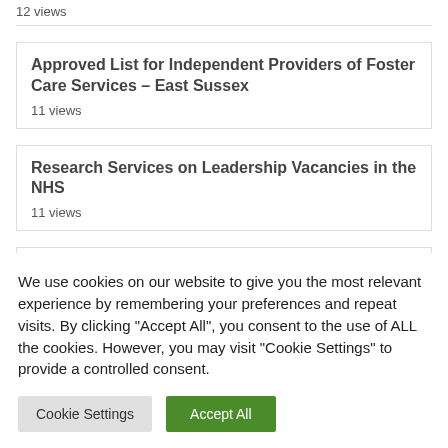12 views
Approved List for Independent Providers of Foster Care Services – East Sussex
11 views
Research Services on Leadership Vacancies in the NHS
11 views
AESP and Technical Documentation Support Contract
We use cookies on our website to give you the most relevant experience by remembering your preferences and repeat visits. By clicking "Accept All", you consent to the use of ALL the cookies. However, you may visit "Cookie Settings" to provide a controlled consent.
Cookie Settings | Accept All